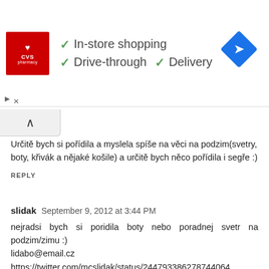[Figure (screenshot): CVS Pharmacy advertisement banner showing In-store shopping, Drive-through, and Delivery checkmarks, with a blue navigation diamond icon on the right. Includes close/minimize controls.]
Určitě bych si pořídila a myslela spíše na věci na podzim(svetry, boty, křivák a nějaké košile) a určitě bych něco pořídila i segře :)
REPLY
slidak  September 9, 2012 at 3:44 PM
nejradsi bych si poridila boty nebo poradnej svetr na podzim/zimu :)
lidabo@email.cz
https://twitter.com/mcslidak/status/244793386278744064
REPLY
Claire  September 9, 2012 at 3:45 PM